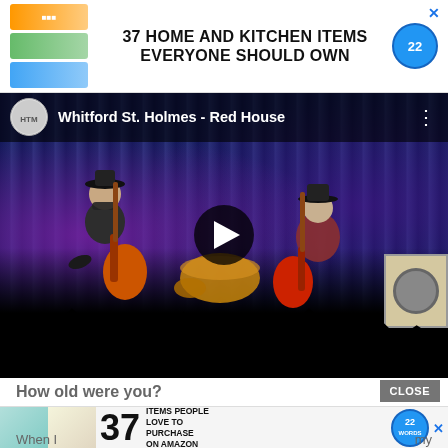[Figure (screenshot): Advertisement banner: '37 HOME AND KITCHEN ITEMS EVERYONE SHOULD OWN' with colorful product images on left, blue circular badge with '22' on right, and X close button]
[Figure (screenshot): YouTube video thumbnail showing two guitarists on stage performing 'Whitford St. Holmes - Red House'. Purple/blue curtained backdrop, audience silhouettes in foreground, play button overlay in center.]
How old were you?
CLOSE
[Figure (screenshot): Advertisement banner: '37 ITEMS PEOPLE LOVE TO PURCHASE ON AMAZON' with plant/fabric images on left, large '37' numeral, blue circular badge with '22 WORDS', and X close button]
When I
my